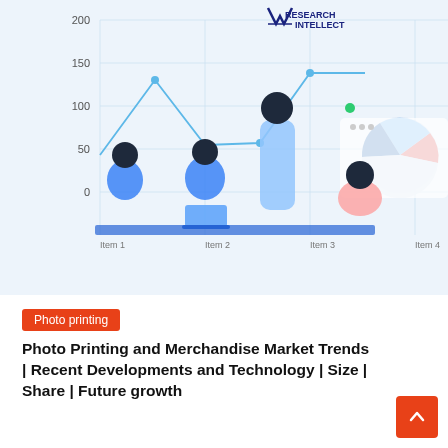[Figure (illustration): Illustration of business people sitting and standing around a table with laptops, overlaid on a background showing a line chart with y-axis values 0, 50, 100, 150, 200 and x-axis items, plus a pie chart in the upper right corner. Research Intellect logo in upper right.]
Photo printing
Photo Printing and Merchandise Market Trends | Recent Developments and Technology | Size | Share | Future growth